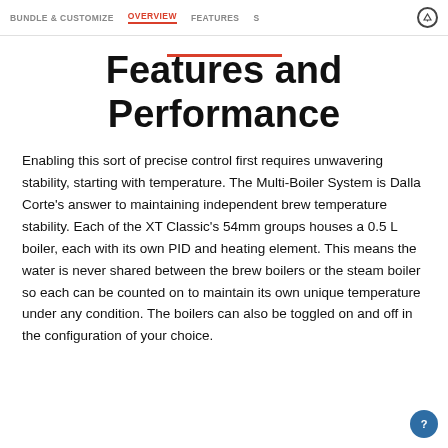BUNDLE & CUSTOMIZE   OVERVIEW   FEATURES   S
Features and Performance
Enabling this sort of precise control first requires unwavering stability, starting with temperature. The Multi-Boiler System is Dalla Corte's answer to maintaining independent brew temperature stability. Each of the XT Classic's 54mm groups houses a 0.5 L boiler, each with its own PID and heating element. This means the water is never shared between the brew boilers or the steam boiler so each can be counted on to maintain its own unique temperature under any condition. The boilers can also be toggled on and off in the configuration of your choice.